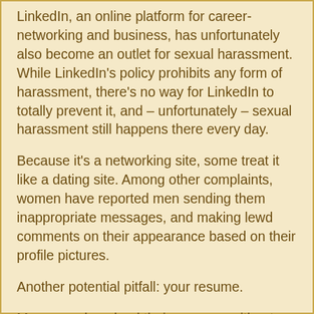LinkedIn, an online platform for career-networking and business, has unfortunately also become an outlet for sexual harassment. While LinkedIn's policy prohibits any form of harassment, there's no way for LinkedIn to totally prevent it, and – unfortunately – sexual harassment still happens there every day.
Because it's a networking site, some treat it like a dating site. Among other complaints, women have reported men sending them inappropriate messages, and making lewd comments on their appearance based on their profile pictures.
Another potential pitfall: your resume.
Many people upload their resumes without considering that their email address and phone number appear in the header. Unless you want the entire internet to have access to that information, delete it from the version you post.
Unwanted phone calls asking to go out may not seem like sexual harassment to some men, but for women receiving